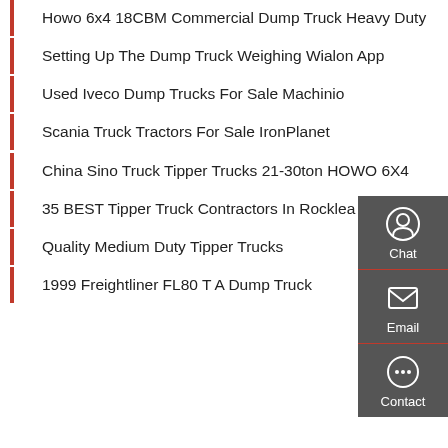Howo 6x4 18CBM Commercial Dump Truck Heavy Duty
Setting Up The Dump Truck Weighing Wialon App
Used Iveco Dump Trucks For Sale Machinio
Scania Truck Tractors For Sale IronPlanet
China Sino Truck Tipper Trucks 21-30ton HOWO 6X4
35 BEST Tipper Truck Contractors In Rocklea QLD
Quality Medium Duty Tipper Trucks
1999 Freightliner FL80 T A Dump Truck